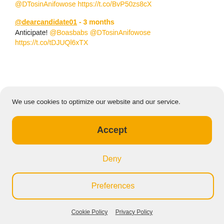@DTosinAnifowose https://t.co/BvP50zs8cX
@dearcandidate01 - 3 months
Anticipate! @Boasbabs @DTosinAnifowose https://t.co/tDJUQl6xTX
We use cookies to optimize our website and our service.
Accept
Deny
Preferences
Cookie Policy   Privacy Policy